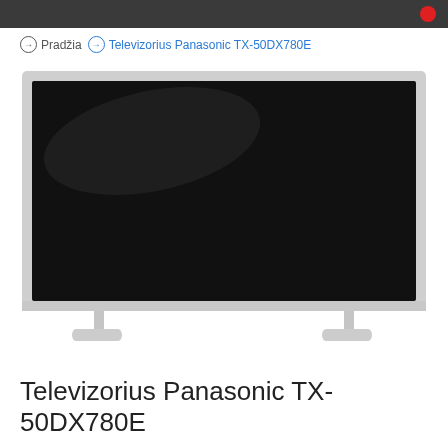Pradžia  Televizorius Panasonic TX-50DX780E
[Figure (photo): Panasonic TX-50DX780E television set with silver/white frame on white stand feet, screen off (black), product photo on white background]
Televizorius Panasonic TX-50DX780E